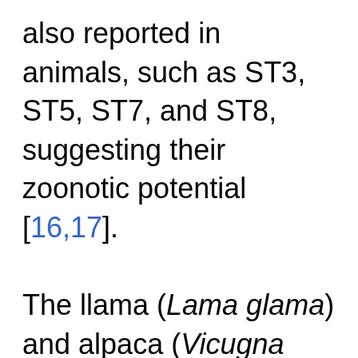also reported in animals, such as ST3, ST5, ST7, and ST8, suggesting their zoonotic potential [16,17]. The llama (Lama glama) and alpaca (Vicugna pacos) are 2 domestic species of South American camelids [18]. Blastocystis was isolated for the first time from a llama in 1993 [19]. However, limited information is available...